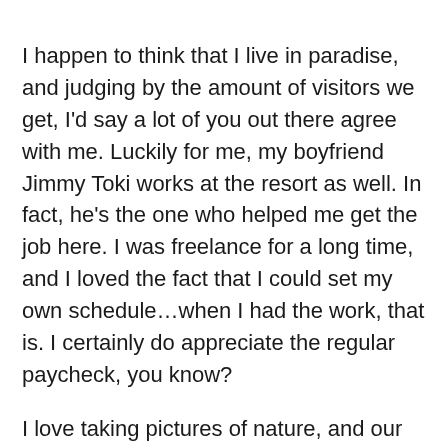I happen to think that I live in paradise, and judging by the amount of visitors we get, I'd say a lot of you out there agree with me. Luckily for me, my boyfriend Jimmy Toki works at the resort as well. In fact, he's the one who helped me get the job here. I was freelance for a long time, and I loved the fact that I could set my own schedule…when I had the work, that is. I certainly do appreciate the regular paycheck, you know?
I love taking pictures of nature, and our island has some of the most beautiful scenery on this planet. Orange bougainvillea grows rampant along the roadways and over fences, and a gorgeous sky blue Climbing Dayflower adds the perfect touch in public gardens. Add in the sandy beaches and the sparkling water, and you've got the recipe for paradise. And speaking of beaches, that's got to